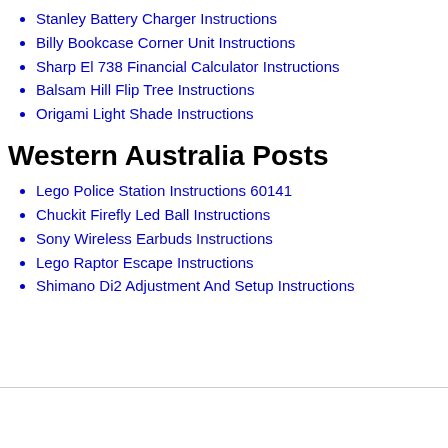Stanley Battery Charger Instructions
Billy Bookcase Corner Unit Instructions
Sharp El 738 Financial Calculator Instructions
Balsam Hill Flip Tree Instructions
Origami Light Shade Instructions
Western Australia Posts
Lego Police Station Instructions 60141
Chuckit Firefly Led Ball Instructions
Sony Wireless Earbuds Instructions
Lego Raptor Escape Instructions
Shimano Di2 Adjustment And Setup Instructions